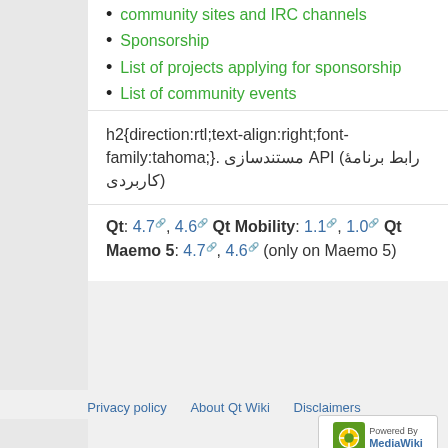community sites and IRC channels
Sponsorship
List of projects applying for sponsorship
List of community events
h2{direction:rtl;text-align:right;font-family:tahoma;}. مستندسازی API (رابط برنامهٔ کاربردی)
Qt: 4.7, 4.6 Qt Mobility: 1.1, 1.0 Qt Maemo 5: 4.7, 4.6 (only on Maemo 5)
Privacy policy   About Qt Wiki   Disclaimers